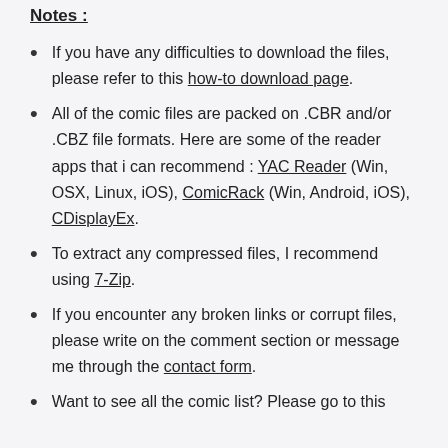Notes :
If you have any difficulties to download the files, please refer to this how-to download page.
All of the comic files are packed on .CBR and/or .CBZ file formats. Here are some of the reader apps that i can recommend : YAC Reader (Win, OSX, Linux, iOS), ComicRack (Win, Android, iOS), CDisplayEx.
To extract any compressed files, I recommend using 7-Zip.
If you encounter any broken links or corrupt files, please write on the comment section or message me through the contact form.
Want to see all the comic list? Please go to this